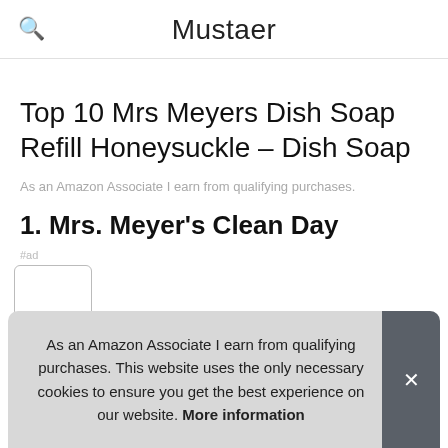Mustaer
Top 10 Mrs Meyers Dish Soap Refill Honeysuckle – Dish Soap
As an Amazon Associate I earn from qualifying purchases.
1. Mrs. Meyer's Clean Day
#ad
As an Amazon Associate I earn from qualifying purchases. This website uses the only necessary cookies to ensure you get the best experience on our website. More information